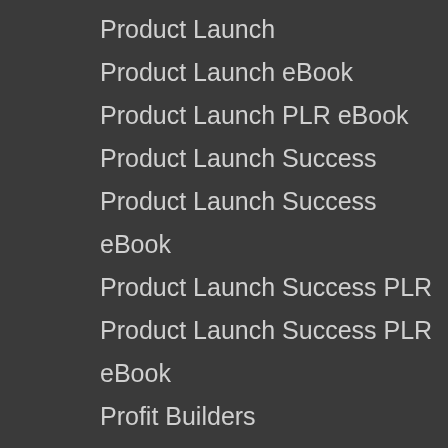Product Launch
Product Launch eBook
Product Launch PLR eBook
Product Launch Success
Product Launch Success eBook
Product Launch Success PLR
Product Launch Success PLR eBook
Profit Builders
Profit Builders eBook
Profit Builders PLR
Profit Builders PLR eBook
Profit Maximizer
Profit Maximizer eBook
Profit Maximizer PLR
Profit Maximizer PLR eBook
Purifying Plants